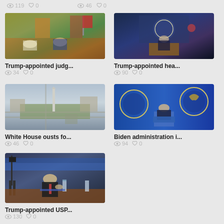119  0   46  0
[Figure (photo): Trump in Oval Office meeting with man in cowboy hat]
Trump-appointed judg...
34  0
[Figure (photo): Official at Department of Justice podium]
Trump-appointed hea...
90  0
[Figure (photo): Aerial view of Washington DC with Washington Monument]
White House ousts fo...
46  0
[Figure (photo): Man at podium with government eagle seals in background]
Biden administration i...
94  0
[Figure (photo): Man in suit at hearing table with water bottle]
Trump-appointed USP...
130  0